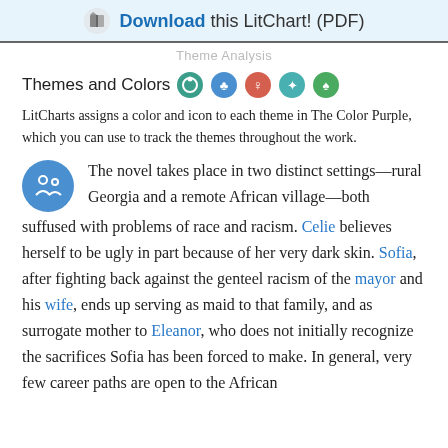Download this LitChart! (PDF)
Theme Analysis
Themes and Colors
LitCharts assigns a color and icon to each theme in The Color Purple, which you can use to track the themes throughout the work.
The novel takes place in two distinct settings—rural Georgia and a remote African village—both suffused with problems of race and racism. Celie believes herself to be ugly in part because of her very dark skin. Sofia, after fighting back against the genteel racism of the mayor and his wife, ends up serving as maid to that family, and as surrogate mother to Eleanor, who does not initially recognize the sacrifices Sofia has been forced to make. In general, very few career paths are open to the African